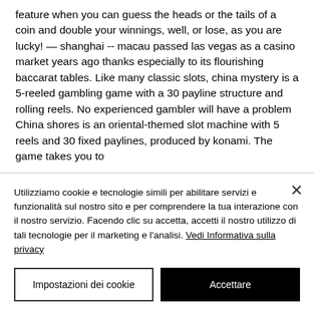feature when you can guess the heads or the tails of a coin and double your winnings, well, or lose, as you are lucky! — shanghai -- macau passed las vegas as a casino market years ago thanks especially to its flourishing baccarat tables. Like many classic slots, china mystery is a 5-reeled gambling game with a 30 payline structure and rolling reels. No experienced gambler will have a problem China shores is an oriental-themed slot machine with 5 reels and 30 fixed paylines, produced by konami. The game takes you to
Utilizziamo cookie e tecnologie simili per abilitare servizi e funzionalità sul nostro sito e per comprendere la tua interazione con il nostro servizio. Facendo clic su accetta, accetti il nostro utilizzo di tali tecnologie per il marketing e l&#39;analisi. Vedi Informativa sulla privacy
Impostazioni dei cookie
Accettare